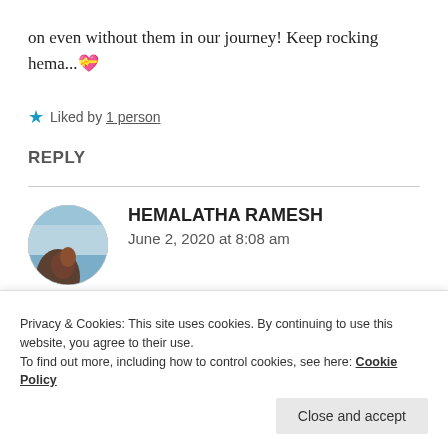on even without them in our journey! Keep rocking hema...💝
★ Liked by 1 person
REPLY
[Figure (photo): Circular avatar photo of Hemalatha Ramesh - appears to be an outdoor photo with sky background]
HEMALATHA RAMESH
June 2, 2020 at 8:08 am
Privacy & Cookies: This site uses cookies. By continuing to use this website, you agree to their use.
To find out more, including how to control cookies, see here: Cookie Policy
Close and accept